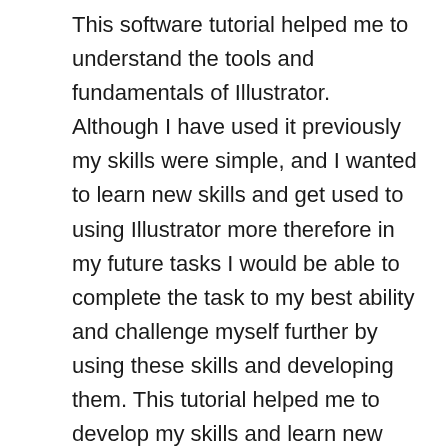This software tutorial helped me to understand the tools and fundamentals of Illustrator. Although I have used it previously my skills were simple, and I wanted to learn new skills and get used to using Illustrator more therefore in my future tasks I would be able to complete the task to my best ability and challenge myself further by using these skills and developing them. This tutorial helped me to develop my skills and learn new ones which I can use in the future. Additional to this tutorial the tutorials given to us on the brief also helped me develop my skills, as it informed you on how to use the skills in illustrator as well as giving you a step by step guide on how to use the skills in illustrator. I want to develop all my skills in illustrator but in particular creating and using clipping masks on text and objects. I have used masks briefly but I want to